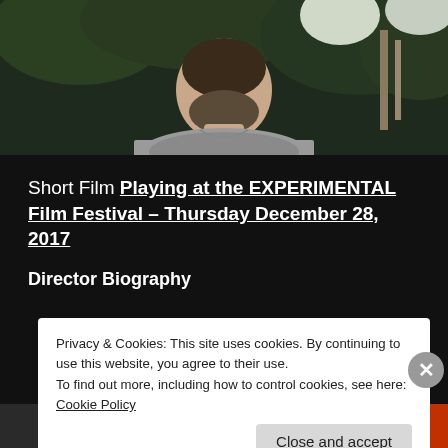[Figure (photo): Photo of a man from behind/side, with trees and greenery in the background. Only the back of his head, neck and grey t-shirt are visible.]
Short Film Playing at the EXPERIMENTAL Film Festival – Thursday December 28, 2017
Director Biography
Privacy & Cookies: This site uses cookies. By continuing to use this website, you agree to their use.
To find out more, including how to control cookies, see here: Cookie Policy
Close and accept